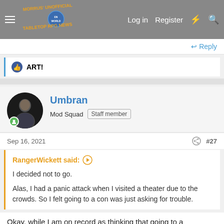Morrus' Unofficial Tabletop RPG News — Log in  Register
Reply
ART!
Umbran
Mod Squad  Staff member
Sep 16, 2021  #27
RangerWickett said:
I decided not to go.

Alas, I had a panic attack when I visited a theater due to the crowds. So I felt going to a con was just asking for trouble.
Okay, while I am on record as thinking that going to a